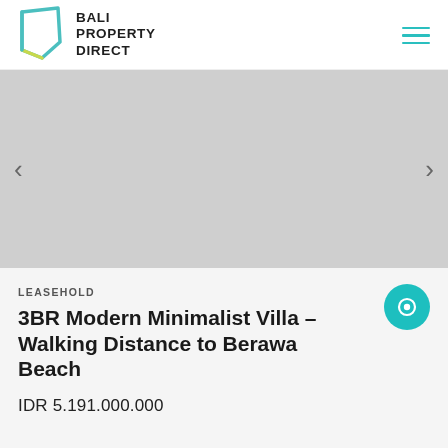BALI PROPERTY DIRECT
[Figure (photo): Property image carousel placeholder – gray background with left and right navigation arrows]
LEASEHOLD
3BR Modern Minimalist Villa – Walking Distance to Berawa Beach
IDR 5.191.000.000